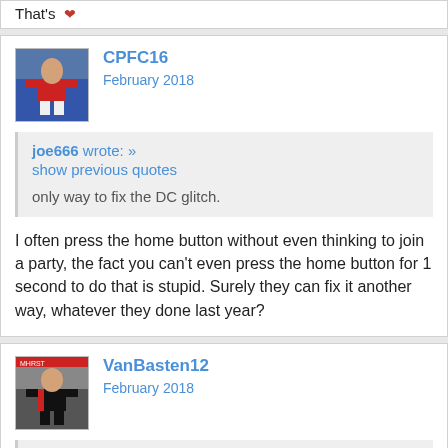That's
CPFC16
February 2018
joe666 wrote: »
show previous quotes
only way to fix the DC glitch.
I often press the home button without even thinking to join a party, the fact you can't even press the home button for 1 second to do that is stupid. Surely they can fix it another way, whatever they done last year?
VanBasten12
February 2018
CPFC16 wrote: »